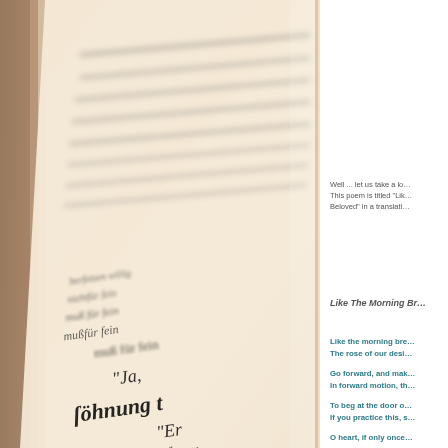[Figure (photo): Close-up photo of an open old book with Gothic/blackletter German text on aged sepia-toned pages, shot at an angle with shallow depth of field.]
Well ... let us take a lo… This poem is titled "Lik… Beloved" in a translati…
Like The Morning Br…
Like the morning bre…
The rose of our desi…

Go forward, and mak…
In forward motion, th…

To beg at the door o…
If you practice this, s…

O heart, if only once…